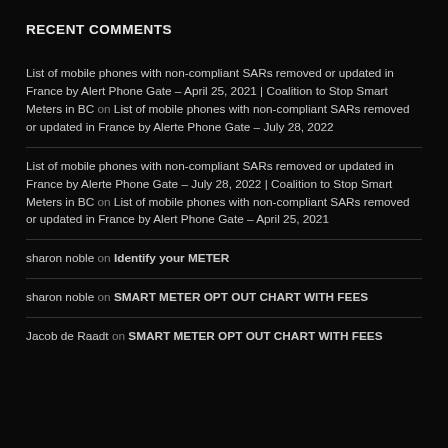RECENT COMMENTS
List of mobile phones with non-compliant SARs removed or updated in France by Alert Phone Gate – April 25, 2021 | Coalition to Stop Smart Meters in BC on List of mobile phones with non-compliant SARs removed or updated in France by Alerte Phone Gate – July 28, 2022
List of mobile phones with non-compliant SARs removed or updated in France by Alerte Phone Gate – July 28, 2022 | Coalition to Stop Smart Meters in BC on List of mobile phones with non-compliant SARs removed or updated in France by Alert Phone Gate – April 25, 2021
sharon noble on Identify your METER
sharon noble on SMART METER OPT OUT CHART WITH FEES
Jacob de Raadt on SMART METER OPT OUT CHART WITH FEES